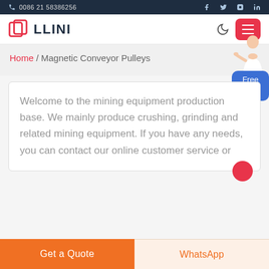0086 21 58386256
[Figure (logo): LLINI company logo with red square icon and dark blue text]
Home / Magnetic Conveyor Pulleys
[Figure (illustration): Free chat widget with person illustration and blue chat bubble saying Free chat]
Welcome to the mining equipment production base. We mainly produce crushing, grinding and related mining equipment. If you have any needs, you can contact our online customer service or
Get a Quote
WhatsApp